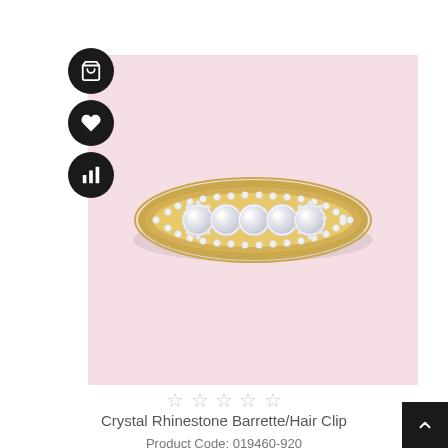[Figure (photo): Crystal Rhinestone Barrette/Hair Clip product photo on pink background. The barrette is oval/marquise shaped, gold-toned metal with rows of small rhinestones around the border and five larger round crystal stones in the center, displayed on a soft pink background.]
★★★★★
Crystal Rhinestone Barrette/Hair Clip
Product Code: 019460-920